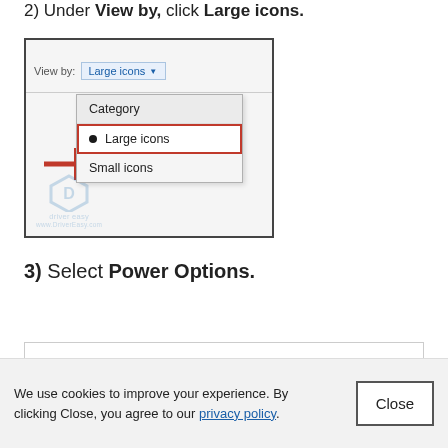2) Under View by, click Large icons.
[Figure (screenshot): Windows Control Panel screenshot showing a dropdown menu under 'View by:' with options Category, Large icons (selected with red border and radio dot), and Small icons. A red arrow points to 'Large icons'. The Driver Easy watermark is visible at the bottom.]
3) Select Power Options.
[Figure (screenshot): Partial screenshot at the bottom of the page (cropped).]
We use cookies to improve your experience. By clicking Close, you agree to our privacy policy.